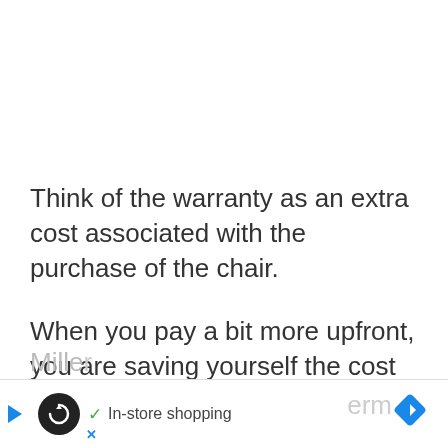Think of the warranty as an extra cost associated with the purchase of the chair.
When you pay a bit more upfront, you are saving yourself the cost of a replacement chair in the coming months.
Although the warranty makes the Herman Miller...erm cost...